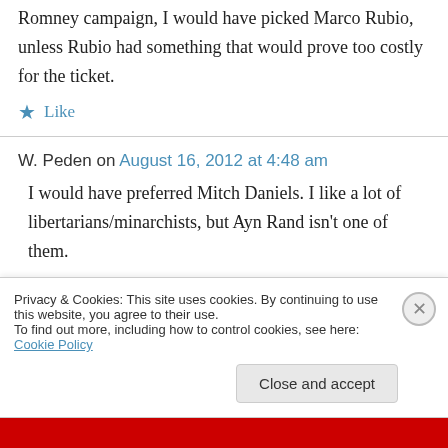Ryan brings too much baggage. If I were in the Romney campaign, I would have picked Marco Rubio, unless Rubio had something that would prove too costly for the ticket.
★ Like
W. Peden on August 16, 2012 at 4:48 am
I would have preferred Mitch Daniels. I like a lot of libertarians/minarchists, but Ayn Rand isn't one of them.
Privacy & Cookies: This site uses cookies. By continuing to use this website, you agree to their use.
To find out more, including how to control cookies, see here: Cookie Policy
Close and accept